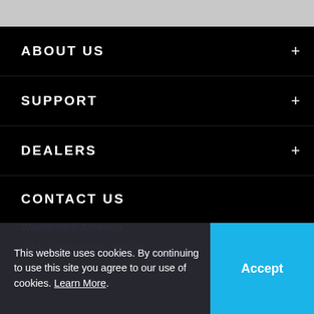ABOUT US
SUPPORT
DEALERS
CONTACT US
Wunderlich America
315 E Central Street Suite 100
This website uses cookies. By continuing to use this site you agree to our use of cookies. Learn More.
Accept